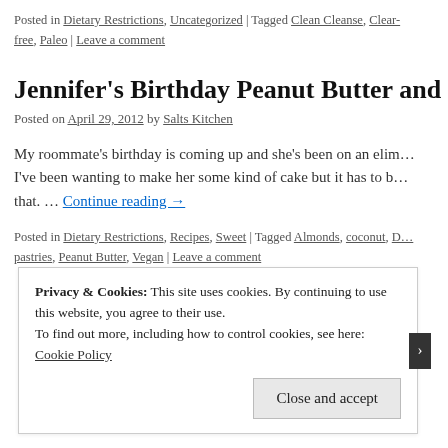Posted in Dietary Restrictions, Uncategorized | Tagged Clean Cleanse, Clear-free, Paleo | Leave a comment
Jennifer's Birthday Peanut Butter and Ja…
Posted on April 29, 2012 by Salts Kitchen
My roommate's birthday is coming up and she's been on an elim… I've been wanting to make her some kind of cake but it has to b… that. … Continue reading →
Posted in Dietary Restrictions, Recipes, Sweet | Tagged Almonds, coconut, D… pastries, Peanut Butter, Vegan | Leave a comment
Privacy & Cookies: This site uses cookies. By continuing to use this website, you agree to their use.
To find out more, including how to control cookies, see here: Cookie Policy
Close and accept